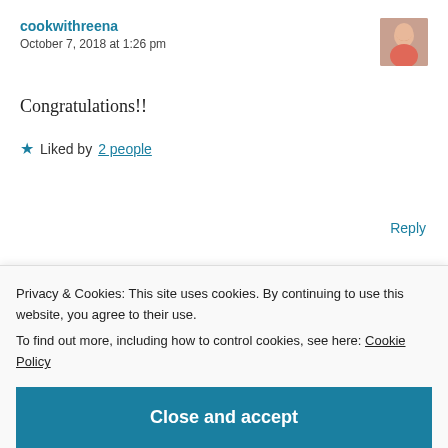cookwithreena
October 7, 2018 at 1:26 pm
[Figure (photo): Avatar photo of cookwithreena, a woman in a pink top]
Congratulations!!
★ Liked by 2 people
Reply
libarah
[Figure (photo): Avatar photo of libarah, partially visible, dark and red tones]
Privacy & Cookies: This site uses cookies. By continuing to use this website, you agree to their use.
To find out more, including how to control cookies, see here: Cookie Policy
Close and accept